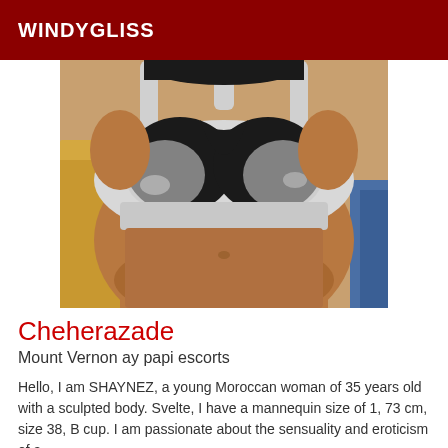WINDYGLISS
[Figure (photo): Photo of a woman wearing a silver/white bralette top with black lining, showing midriff, indoors]
Cheherazade
Mount Vernon ay papi escorts
Hello, I am SHAYNEZ, a young Moroccan woman of 35 years old with a sculpted body. Svelte, I have a mannequin size of 1, 73 cm, size 38, B cup. I am passionate about the sensuality and eroticism of a